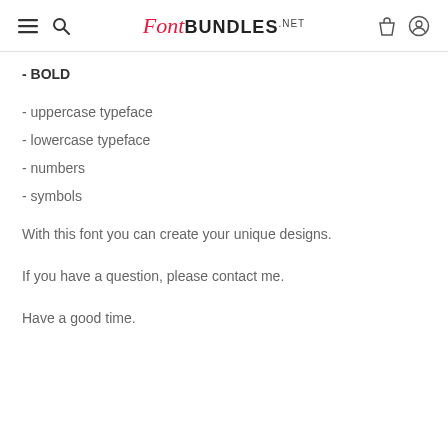FontBUNDLES.NET
- BOLD
- uppercase typeface
- lowercase typeface
- numbers
- symbols
With this font you can create your unique designs.
If you have a question, please contact me.
Have a good time.